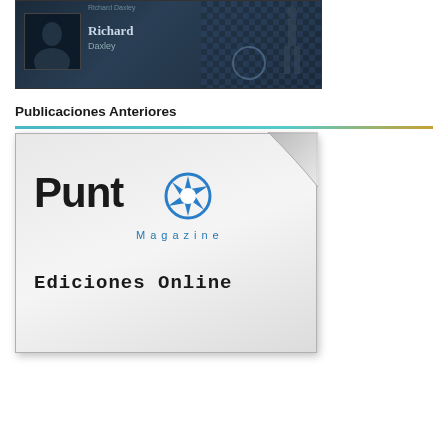[Figure (illustration): Dark themed banner image with chess/clock motifs, showing a person silhouette on the right and a small photo inset on the left with the name 'Richard Daxley']
Publicaciones Anteriores
[Figure (logo): Punto Magazine logo on a paper-curl card with 'Ediciones Online' text below, featuring a blue aperture/lens icon replacing the 'o' in Punto]